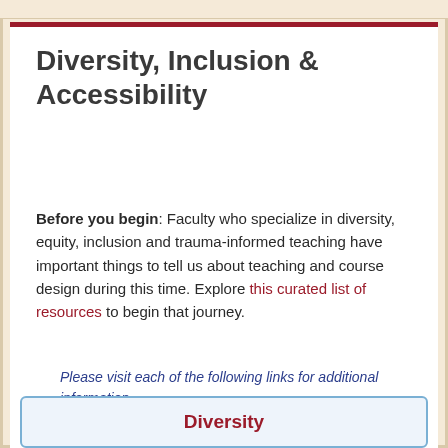Diversity, Inclusion & Accessibility
Before you begin: Faculty who specialize in diversity, equity, inclusion and trauma-informed teaching have important things to tell us about teaching and course design during this time. Explore this curated list of resources to begin that journey.
Please visit each of the following links for additional information.
Diversity